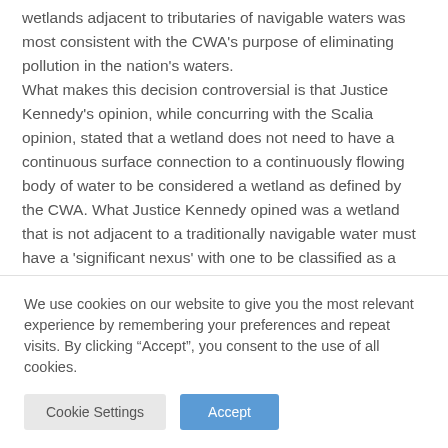wetlands adjacent to tributaries of navigable waters was most consistent with the CWA's purpose of eliminating pollution in the nation's waters. What makes this decision controversial is that Justice Kennedy's opinion, while concurring with the Scalia opinion, stated that a wetland does not need to have a continuous surface connection to a continuously flowing body of water to be considered a wetland as defined by the CWA. What Justice Kennedy opined was a wetland that is not adjacent to a traditionally navigable water must have a 'significant nexus' with one to be classified as a wetland.
We use cookies on our website to give you the most relevant experience by remembering your preferences and repeat visits. By clicking "Accept", you consent to the use of all cookies.